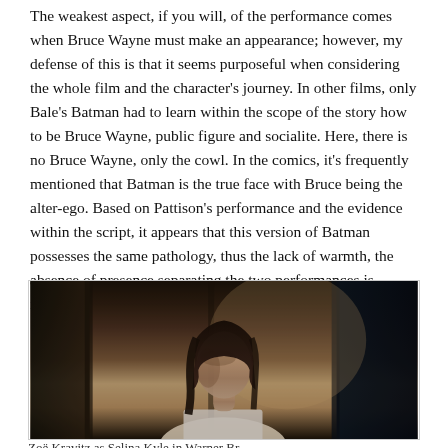The weakest aspect, if you will, of the performance comes when Bruce Wayne must make an appearance; however, my defense of this is that it seems purposeful when considering the whole film and the character's journey. In other films, only Bale's Batman had to learn within the scope of the story how to be Bruce Wayne, public figure and socialite. Here, there is no Bruce Wayne, only the cowl. In the comics, it's frequently mentioned that Batman is the true face with Bruce being the alter-ego. Based on Pattison's performance and the evidence within the script, it appears that this version of Batman possesses the same pathology, thus the lack of warmth, the absence of presence separating the two performances is intentional as there is no Bruce. Not yet.
[Figure (photo): A dark, moody photograph of a young woman with dark hair wearing a white tank top, photographed in a dimly lit interior setting with vertical elements (possibly bars or architectural features) visible in the background.]
Zoë Kravitz as Selina Kyle in Warner Br...